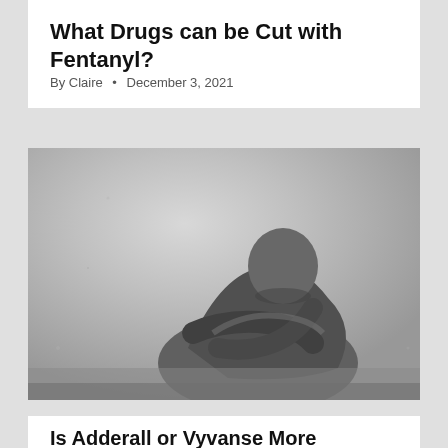What Drugs can be Cut with Fentanyl?
By Claire • December 3, 2021
[Figure (photo): Black and white photograph of a person sitting against a wall with head bowed down, arms wrapped around their knees, appearing distressed.]
Is Adderall or Vyvanse More Dangerous